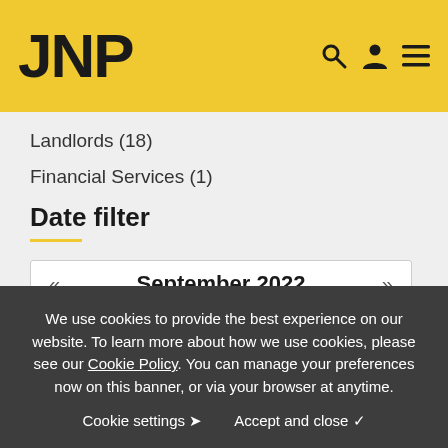JNP
Landlords (18)
Financial Services (1)
Date filter
« September 2022 »
We use cookies to provide the best experience on our website. To learn more about how we use cookies, please see our Cookie Policy. You can manage your preferences now on this banner, or via your browser at anytime.
Cookie settings ❯   Accept and close ✓